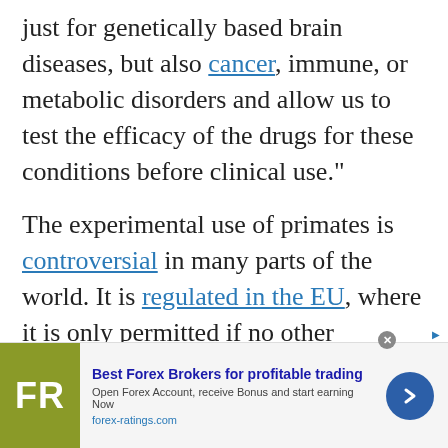just for genetically based brain diseases, but also cancer, immune, or metabolic disorders and allow us to test the efficacy of the drugs for these conditions before clinical use."
The experimental use of primates is controversial in many parts of the world. It is regulated in the EU, where it is only permitted if no other methods are available, and banned to varying degrees in some regions.
Yet, because of their genetic proximity to humans, their intelligence and their social dynamics, non-human primates are considered vital to biomedical research.
[Figure (other): Advertisement banner for Best Forex Brokers. Shows FR logo in olive/green square, bold blue text 'Best Forex Brokers for profitable trading', subtext 'Open Forex Account, receive Bonus and start earning Now', URL 'forex-ratings.com', and a dark blue circular arrow button.]